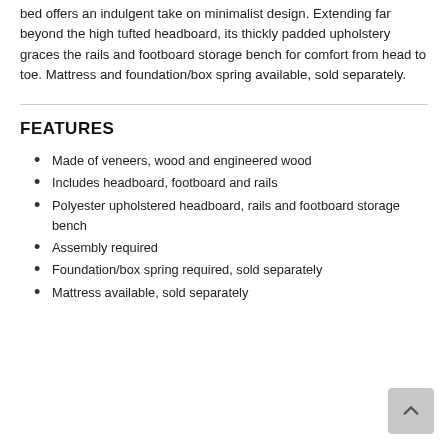bed offers an indulgent take on minimalist design. Extending far beyond the high tufted headboard, its thickly padded upholstery graces the rails and footboard storage bench for comfort from head to toe. Mattress and foundation/box spring available, sold separately.
FEATURES
Made of veneers, wood and engineered wood
Includes headboard, footboard and rails
Polyester upholstered headboard, rails and footboard storage bench
Assembly required
Foundation/box spring required, sold separately
Mattress available, sold separately